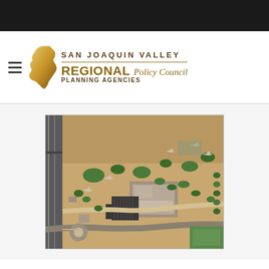[Figure (logo): San Joaquin Valley Regional Planning Agencies Policy Council logo with California state shape in gold/brown tones, hamburger menu icon on left]
[Figure (photo): Aerial photograph of a facility with buildings, parking lots, aircraft on display, trees, and surrounding agricultural land. Appears to be a military aviation museum or air base.]